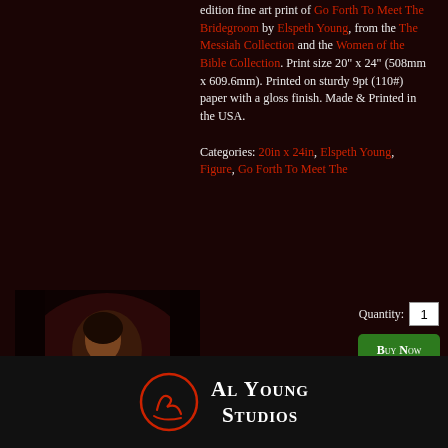edition fine art print of Go Forth To Meet The Bridegroom by Elspeth Young, from the The Messiah Collection and the Women of the Bible Collection. Print size 20" x 24" (508mm x 609.6mm). Printed on sturdy 9pt (110#) paper with a gloss finish. Made & Printed in the USA. Categories: 20in x 24in, Elspeth Young, Figure, Go Forth To Meet The Bridegroom, ...
[Figure (photo): Thumbnail artwork photo showing a woman in dark robes holding a candle, painted in old master style]
Quantity: 1
Buy Now
or
Add to Cart
Al Young Studios